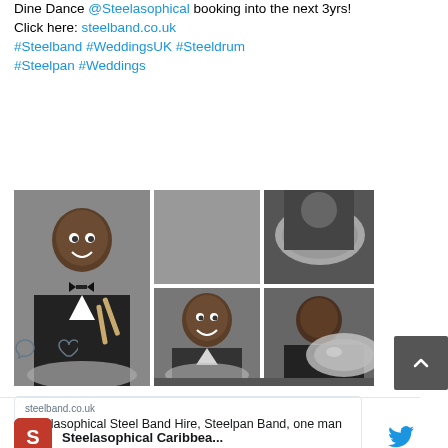Dine Dance @Steelasophical booking into the next 3yrs! Click here: steelband.co.uk #Steelband #WeddingsUK #Steeldrum #Steelpan #Weddings
[Figure (photo): Black and white photo collage of steel band musicians in formal attire playing steel drums/pans]
steelband.co.uk
Steelasophical Steel Band Hire, Steelpan Band, one man band
[Figure (illustration): Comment and heart/like action icons below tweet]
Steelasophical Caribbea...